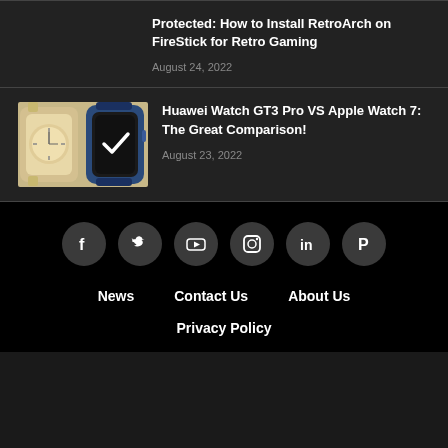Protected: How to Install RetroArch on FireStick for Retro Gaming
August 24, 2022
[Figure (photo): Two smartwatches side by side: a gold Huawei Watch GT3 Pro and a blue Apple Watch 7]
Huawei Watch GT3 Pro VS Apple Watch 7: The Great Comparison!
August 23, 2022
News  Contact Us  About Us  Privacy Policy